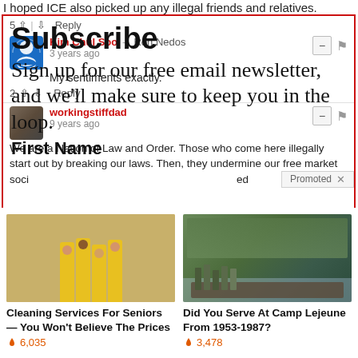I hoped ICE also picked up any illegal friends and relatives.
Subscribe
Sign up for our free email newsletter, and we'll make sure to keep you in the loop.
First Name
Kim Chul Soo → Ron Nedos
3 years ago
My sentiments exactly.
workingstiffdad
9 years ago
We are a Nation of Law and Order. Those who come here illegally start out by breaking our laws. Then, they undermine our free market soci...
[Figure (photo): Advertisement photo: four women in yellow shirts holding cleaning supplies]
Cleaning Services For Seniors — You Won't Believe The Prices
🔥 6,035
[Figure (photo): Advertisement photo: military soldiers on a speedboat]
Did You Serve At Camp Lejeune From 1953-1987?
🔥 3,478